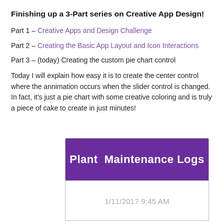Finishing up a 3-Part series on Creative App Design!
Part 1 – Creative Apps and Design Challenge
Part 2 – Creating the Basic App Layout and Icon Interactions
Part 3 – (today) Creating the custom pie chart control
Today I will explain how easy it is to create the center control where the annimation occurs when the slider control is changed. In fact, it's just a pie chart with some creative coloring and is truly a piece of cake to create in just minutes!
[Figure (screenshot): Mobile app UI screenshot showing a 'Plant Maintenance Logs' app header in purple with date '1/11/2017 9:45 AM' below]